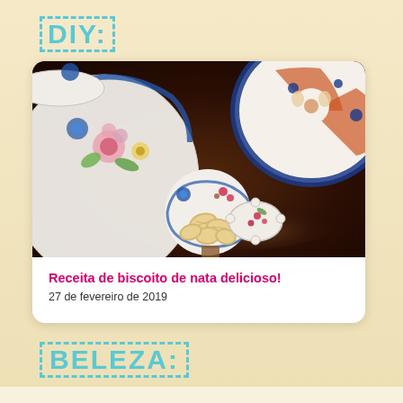DIY:
[Figure (photo): Decorative porcelain plates and dishes with blue, orange, and floral patterns on a dark wooden table, with a small flower-shaped dish holding cream-colored cookies shaped like animals or flowers in the foreground.]
Receita de biscoito de nata delicioso!
27 de fevereiro de 2019
BELEZA: